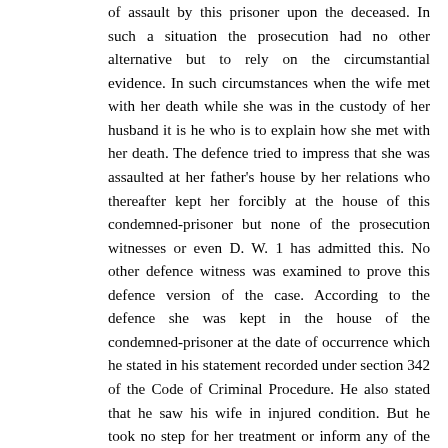of assault by this prisoner upon the deceased. In such a situation the prosecution had no other alternative but to rely on the circumstantial evidence. In such circumstances when the wife met with her death while she was in the custody of her husband it is he who is to explain how she met with her death. The defence tried to impress that she was assaulted at her father's house by her relations who thereafter kept her forcibly at the house of this condemned-prisoner but none of the prosecution witnesses or even D. W. 1 has admitted this. No other defence witness was examined to prove this defence version of the case. According to the defence she was kept in the house of the condemned-prisoner at the date of occurrence which he stated in his statement recorded under section 342 of the Code of Criminal Procedure. He also stated that he saw his wife in injured condition. But he took no step for her treatment or inform any of the co-villager of the incident. It appears that he allowed his wife to die and even after her death he has not informed any of the co-villager or reported the matter to the police which is admittedly at a distance of 3 kilometers from his house. None of the inmates of the house also informed the police or took any medical help for saving the life of